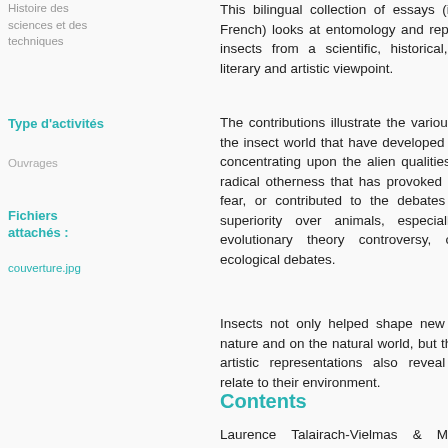Histoire des sciences et des techniques
This bilingual collection of essays (in English and French) looks at entomology and representations of insects from a scientific, historical, philosophical, literary and artistic viewpoint.
Type d'activités
Ouvrages
The contributions illustrate the various responses to the insect world that have developed over centuries, concentrating upon the alien qualities of insects - a radical otherness that has provoked admiration and fear, or contributed to the debates over humans' superiority over animals, especially during the evolutionary theory controversy, or in today's ecological debates.
Fichiers attachés :
couverture.jpg
Insects not only helped shape new discourses on nature and on the natural world, but their literary and artistic representations also reveal how humans relate to their environment.
Contents
Laurence Talairach-Vielmas & Marie Bouchet, Introduction